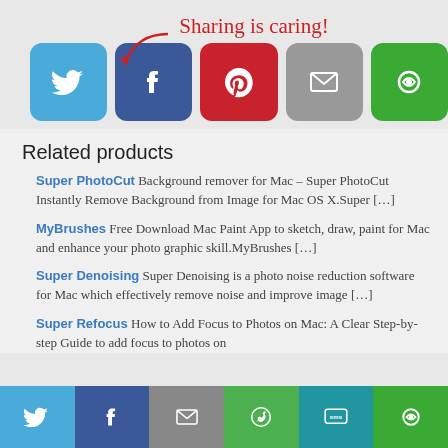[Figure (infographic): Sharing is caring! text with a red arrow pointing to social share buttons: Twitter (blue), Facebook (dark blue), Pinterest (red), Email (gray), Share (green)]
Related products
Super PhotoCut Background remover for Mac – Super PhotoCut Instantly Remove Background from Image for Mac OS X.Super […]
MyBrushes Free Download Mac Paint App to sketch, draw, paint for Mac and enhance your photo graphic skill.MyBrushes […]
Super Denoising Super Denoising is a photo noise reduction software for Mac which effectively remove noise and improve image […]
Super Refocus How to Add Focus to Photos on Mac: A Clear Step-by-step Guide to add focus to photos on
[Figure (infographic): Bottom share bar with Twitter, Facebook, Email, WhatsApp, SMS, and Share buttons]